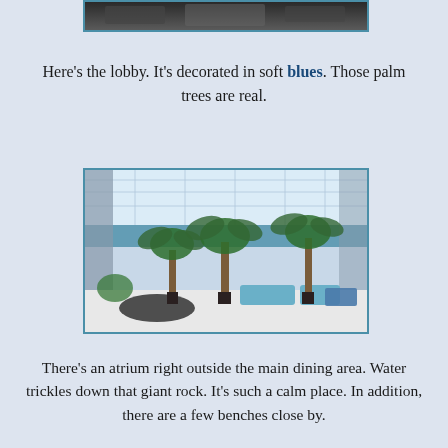[Figure (photo): Partial view of a photo at the top of the page, cropped — appears to be a ceiling or upper portion of an indoor space.]
Here's the lobby. It's decorated in soft blues. Those palm trees are real.
[Figure (photo): Photo of a large bright atrium lobby with tall palm trees in planters, a glass ceiling, blue accent walls, and seating areas with blue furniture. The floor is light-colored polished tile.]
There's an atrium right outside the main dining area. Water trickles down that giant rock. It's such a calm place. In addition, there are a few benches close by.